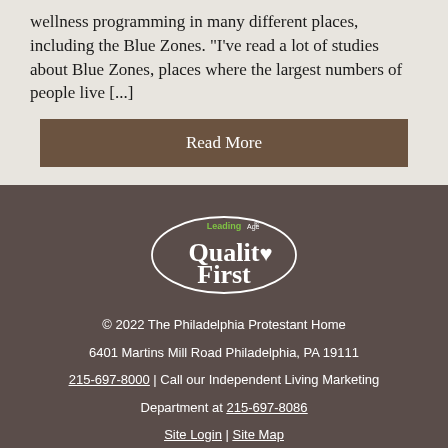wellness programming in many different places, including the Blue Zones. “I’ve read a lot of studies about Blue Zones, places where the largest numbers of people live […]
Read More
[Figure (logo): LeadingAge Quality First logo — oval shape with 'LeadingAge' in small text at top and 'Quality First' in large white serif text below, with a small heart symbol replacing the 'o' in Quality]
© 2022 The Philadelphia Protestant Home
6401 Martins Mill Road Philadelphia, PA 19111
215-697-8000 | Call our Independent Living Marketing Department at 215-697-8086
Site Login | Site Map
[Figure (logo): Facebook icon — white 'f' on square rounded background]
[Figure (logo): YouTube icon — white 'You Tube' play button on square rounded background]
[Figure (logo): Equal Housing Opportunity logo — house with equal sign]